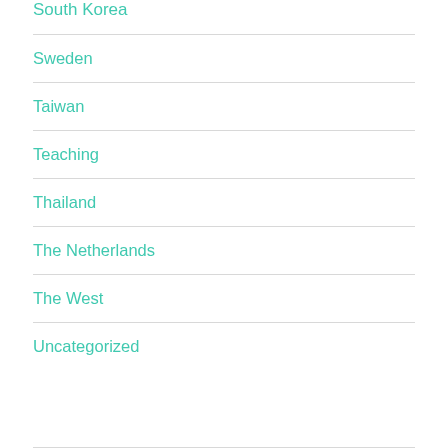South Korea
Sweden
Taiwan
Teaching
Thailand
The Netherlands
The West
Uncategorized